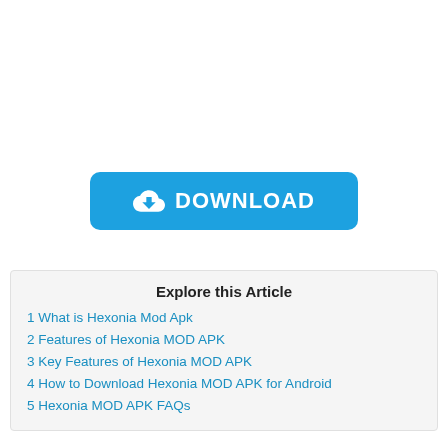[Figure (other): Blue download button with cloud-download icon and text DOWNLOAD]
Explore this Article
1 What is Hexonia Mod Apk
2 Features of Hexonia MOD APK
3 Key Features of Hexonia MOD APK
4 How to Download Hexonia MOD APK for Android
5 Hexonia MOD APK FAQs